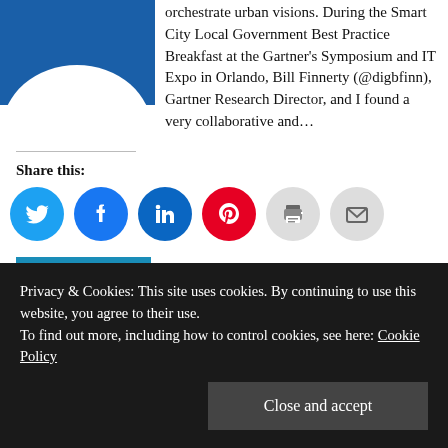[Figure (illustration): Blue background with white shape (partial logo or image) at top left]
orchestrate urban visions. During the Smart City Local Government Best Practice Breakfast at the Gartner's Symposium and IT Expo in Orlando, Bill Finnerty (@digbfinn), Gartner Research Director, and I found a very collaborative and…
Share this:
[Figure (infographic): Row of social share icon circles: Twitter (blue), Facebook (blue), LinkedIn (dark blue), Pinterest (red), Print (light grey), Email (light grey)]
READ MORE
Privacy & Cookies: This site uses cookies. By continuing to use this website, you agree to their use.
To find out more, including how to control cookies, see here: Cookie Policy
Close and accept
December 12, 2017